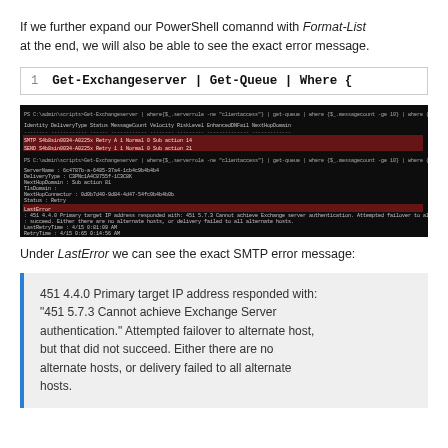If we further expand our PowerShell comannd with Format-List at the end, we will also be able to see the exact error message.
[Figure (screenshot): Code block showing: 1  Get-Exchangeserver | Get-Queue | Where {]
[Figure (screenshot): Terminal screenshot showing PowerShell output with Exchange queue data and LastError details about 451 4.4.0 SMTP error]
Under LastError we can see the exact SMTP error message:
451 4.4.0 Primary target IP address responded with: "451 5.7.3 Cannot achieve Exchange Server authentication." Attempted failover to alternate host, but that did not succeed. Either there are no alternate hosts, or delivery failed to all alternate hosts.